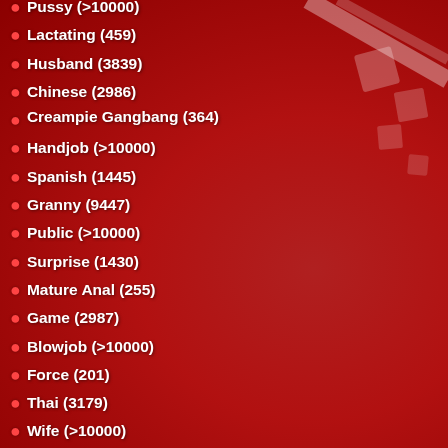Pussy (>10000)
Lactating (459)
Husband (3839)
Chinese (2986)
Creampie Gangbang (364)
Handjob (>10000)
Spanish (1445)
Granny (9447)
Public (>10000)
Surprise (1430)
Mature Anal (255)
Game (2987)
Blowjob (>10000)
Force (201)
Thai (3179)
Wife (>10000)
Maroc (307)
Hitomi Tanaka (70)
Mom Anal (101)
Orgy (9436)
Midget (343)